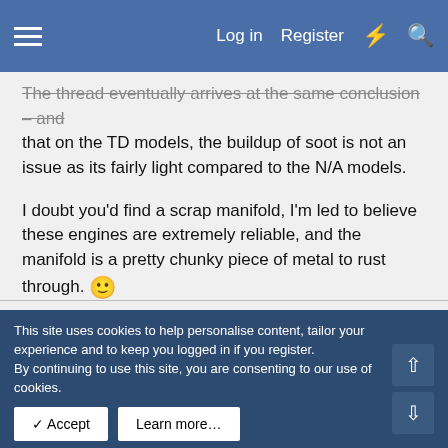Log in  Register
The thread eventually arrives at the same conclusion – and that on the TD models, the buildup of soot is not an issue as its fairly light compared to the N/A models.

I doubt you'd find a scrap manifold, I'm led to believe these engines are extremely reliable, and the manifold is a pretty chunky piece of metal to rust through. 🙂
Oct 5, 2006  #18
bolide
MB Enthusiast
This site uses cookies to help personalise content, tailor your experience and to keep you logged in if you register.
By continuing to use this site, you are consenting to our use of cookies.